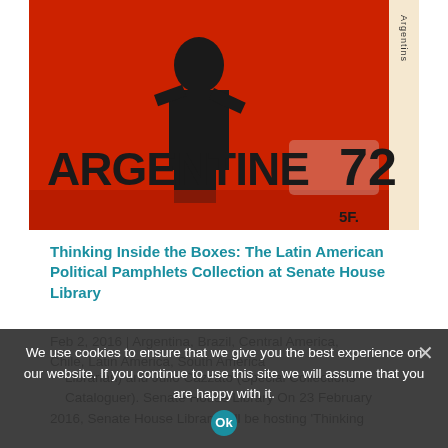[Figure (illustration): Red and cream/beige book or pamphlet cover with bold text reading 'ARGENTINE 72' and a high-contrast graphic of a person. Text 'Argentins' visible on right spine. '5F.' at bottom right.]
Thinking Inside the Boxes: The Latin American Political Pamphlets Collection at Senate House Library
Feb 2, 2016 | Argentina, Brazil, Central America, Chile, Latin America, South America
We use cookies to ensure that we give you the best experience on our website. If you continue to use this site we will assume that you are happy with it.
Librarian) and Julio Cazzato (Special Collections Cataloguer). Senate House Library On 23 February 2016, Senate House Library will be hosting 'Thinking